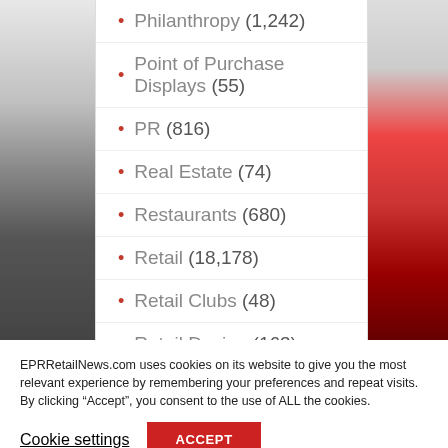Philanthropy (1,242)
Point of Purchase Displays (55)
PR (816)
Real Estate (74)
Restaurants (680)
Retail (18,178)
Retail Clubs (48)
Retail Design (163)
EPRRetailNews.com uses cookies on its website to give you the most relevant experience by remembering your preferences and repeat visits. By clicking “Accept”, you consent to the use of ALL the cookies.
Cookie settings
ACCEPT